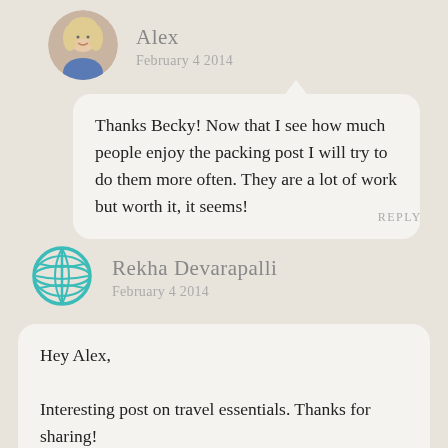[Figure (photo): Circular avatar photo of a blonde woman named Alex]
Alex
February 4 2014
Thanks Becky! Now that I see how much people enjoy the packing post I will try to do them more often. They are a lot of work but worth it, it seems!
REPLY
[Figure (illustration): Teal globe/web icon representing Rekha Devarapalli's avatar]
Rekha Devarapalli
February 4 2014
Hey Alex,

Interesting post on travel essentials. Thanks for sharing!